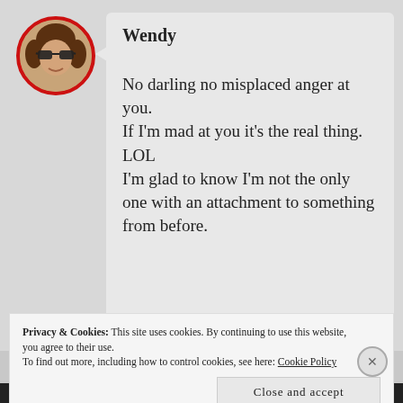[Figure (photo): Circular avatar photo of a woman wearing sunglasses with a red circular border]
Wendy
No darling no misplaced anger at you.
If I'm mad at you it's the real thing. LOL
I'm glad to know I'm not the only one with an attachment to something from before.
Privacy & Cookies: This site uses cookies. By continuing to use this website, you agree to their use.
To find out more, including how to control cookies, see here: Cookie Policy
Close and accept